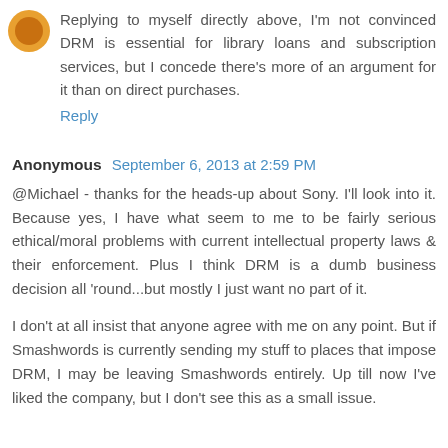Replying to myself directly above, I'm not convinced DRM is essential for library loans and subscription services, but I concede there's more of an argument for it than on direct purchases.
Reply
Anonymous  September 6, 2013 at 2:59 PM
@Michael - thanks for the heads-up about Sony. I'll look into it. Because yes, I have what seem to me to be fairly serious ethical/moral problems with current intellectual property laws & their enforcement. Plus I think DRM is a dumb business decision all 'round...but mostly I just want no part of it.
I don't at all insist that anyone agree with me on any point. But if Smashwords is currently sending my stuff to places that impose DRM, I may be leaving Smashwords entirely. Up till now I've liked the company, but I don't see this as a small issue.